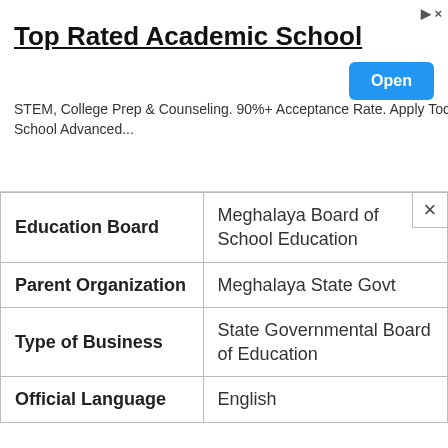[Figure (other): Advertisement banner: Top Rated Academic School. STEM, College Prep & Counseling. 90%+ Acceptance Rate. Apply Today! Loudoun School Advanced... with an Open button.]
| Education Board | Meghalaya Board of School Education |
| Parent Organization | Meghalaya State Govt |
| Type of Business | State Governmental Board of Education |
| Official Language | English |